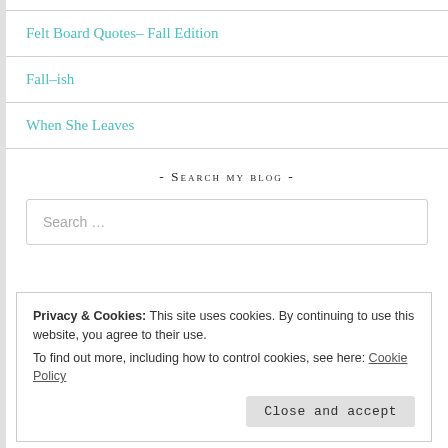Felt Board Quotes– Fall Edition
Fall–ish
When She Leaves
- Search my blog -
Search ...
Privacy & Cookies: This site uses cookies. By continuing to use this website, you agree to their use.
To find out more, including how to control cookies, see here: Cookie Policy
Close and accept